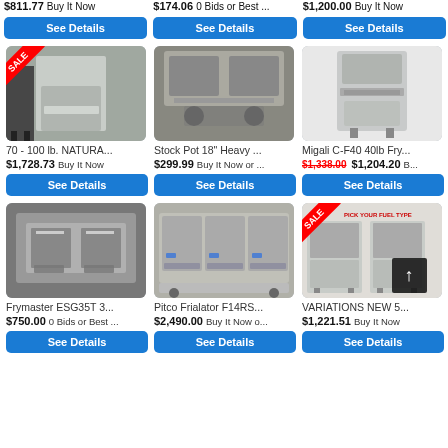$811.77 Buy It Now
$174.06 0 Bids or Best ...
$1,200.00 Buy It Now
See Details
See Details
See Details
[Figure (photo): Commercial fryer with person standing next to it, SALE banner in corner]
[Figure (photo): Stock pot heavy duty range cooker, stainless steel]
[Figure (photo): Migali C-F40 fryer, stainless steel standalone unit]
70 - 100 lb. NATURA...
$1,728.73 Buy It Now
See Details
Stock Pot 18" Heavy ...
$299.99 Buy It Now or ...
See Details
Migali C-F40 40lb Fry...
$1,338.00 $1,204.20 B...
See Details
[Figure (photo): Frymaster ESG35T fryer with baskets]
[Figure (photo): Pitco Frialator F14RS triple fryer bank, stainless steel]
[Figure (photo): VARIATIONS NEW 5... fryers with SALE banner and PICK YOUR FUEL TYPE text]
Frymaster ESG35T 3...
$750.00 0 Bids or Best ...
See Details
Pitco Frialator F14RS...
$2,490.00 Buy It Now o...
See Details
VARIATIONS NEW 5...
$1,221.51 Buy It Now
See Details